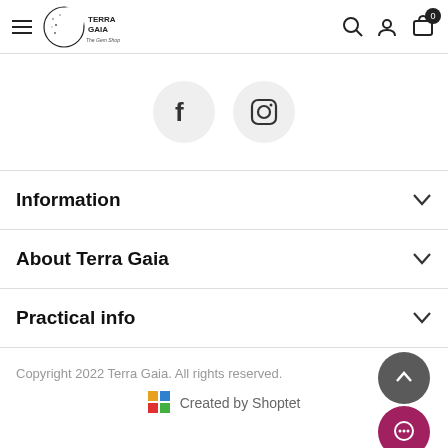[Figure (screenshot): Website header with hamburger menu, Terra Gaia crescent moon logo, search, account, and cart icons]
[Figure (infographic): Two circular social media icon buttons: Facebook and Instagram]
Information
About Terra Gaia
Practical info
Copyright 2022 Terra Gaia. All rights reserved.
Created by Shoptet